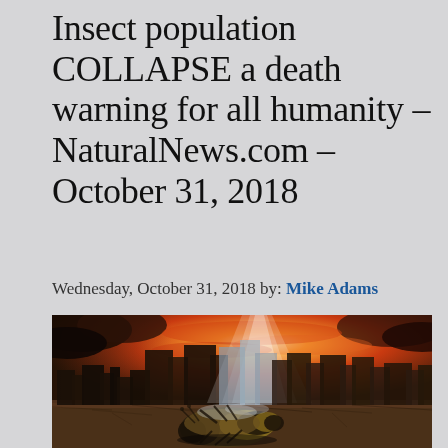Insect population COLLAPSE a death warning for all humanity – NaturalNews.com – October 31, 2018
Wednesday, October 31, 2018 by: Mike Adams
[Figure (photo): A dead bee lying on cracked dry earth in the foreground, with a dramatic apocalyptic cityscape behind it showing tall skyscrapers under a fiery orange-red sky with dark storm clouds and beams of white light.]